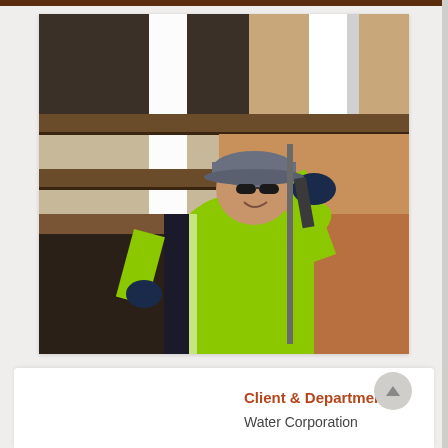[Figure (photo): A worker in a bright yellow-green high-visibility jacket and cap, wearing gloves, smiling while working on a wooden structure with white painted posts. The setting appears to be a bridge or jetty maintenance site with red dirt/gravel visible in the background.]
Client & Department
Water Corporation